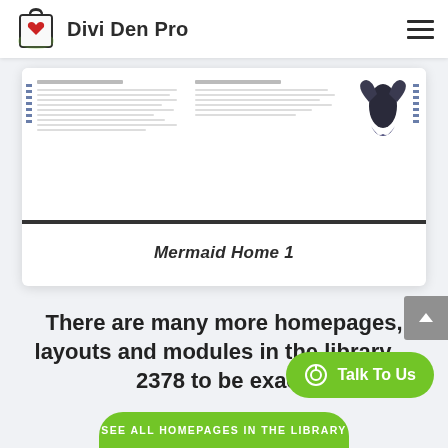Divi Den Pro
[Figure (screenshot): Preview card showing a simulated webpage layout with two text columns and a bird/mermaid image, labeled 'Mermaid Home 1' below]
Mermaid Home 1
There are many more homepages, layouts and modules in the library… 2378 to be exact.
Talk To Us
SEE ALL HOMEPAGES IN THE LIBRARY